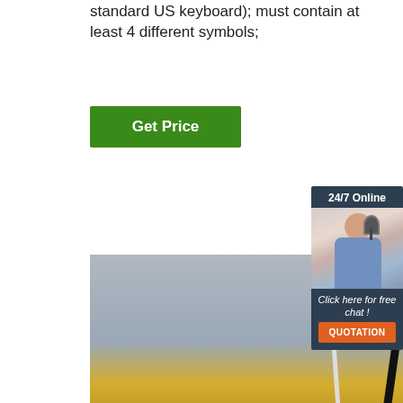standard US keyboard); must contain at least 4 different symbols;
[Figure (other): Green 'Get Price' button]
[Figure (photo): Industrial machinery photo showing cables, chain, yellow and red components, and a rusty metal surface with chain hanging down]
[Figure (infographic): Sidebar widget with dark blue background showing '24/7 Online', a photo of a female customer service agent with headset, 'Click here for free chat!', and an orange QUOTATION button]